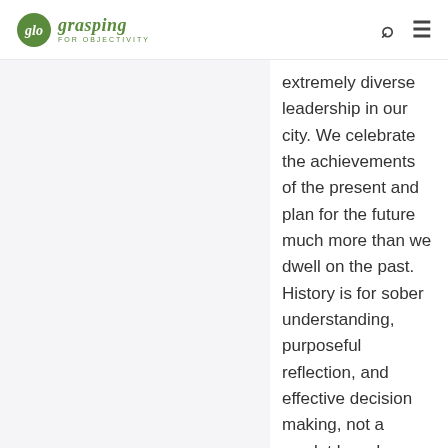glo grasping FOR OBJECTIVITY
extremely diverse leadership in our city. We celebrate the achievements of the present and plan for the future much more than we dwell on the past. History is for sober understanding, purposeful reflection, and effective decision making, not a scarlet brand on every successive generation. It's easy to shoot condescending